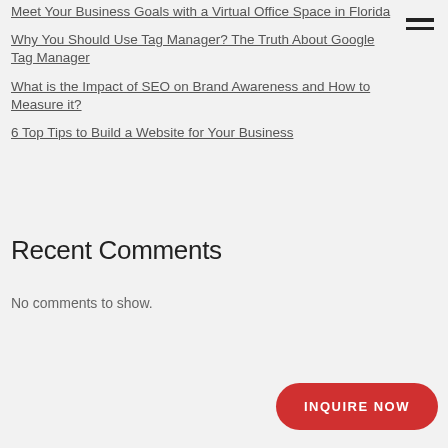Meet Your Business Goals with a Virtual Office Space in Florida
Why You Should Use Tag Manager? The Truth About Google Tag Manager
What is the Impact of SEO on Brand Awareness and How to Measure it?
6 Top Tips to Build a Website for Your Business
Recent Comments
No comments to show.
INQUIRE NOW